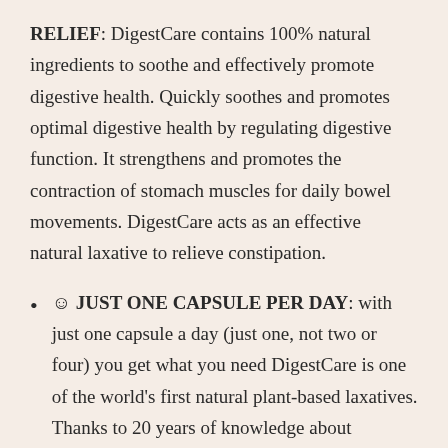RELIEF: DigestCare contains 100% natural ingredients to soothe and effectively promote digestive health. Quickly soothes and promotes optimal digestive health by regulating digestive function. It strengthens and promotes the contraction of stomach muscles for daily bowel movements. DigestCare acts as an effective natural laxative to relieve constipation.
☺ JUST ONE CAPSULE PER DAY: with just one capsule a day (just one, not two or four) you get what you need DigestCare is one of the world's first natural plant-based laxatives. Thanks to 20 years of knowledge about constipation, we have created the most natural and safe formula with digestive aids. It relieves constipation and gas, and is a natural softener that promotes general